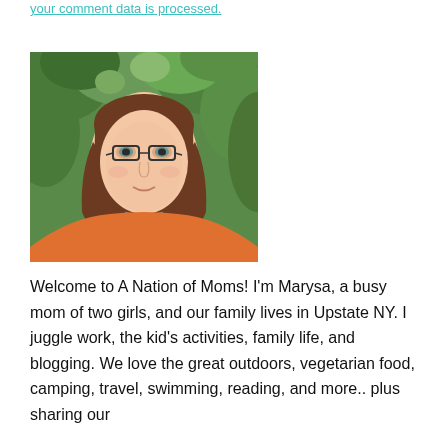your comment data is processed.
[Figure (photo): Headshot photo of Marysa, a woman with long brown hair and glasses, wearing an orange top, with green leafy background.]
Welcome to A Nation of Moms! I'm Marysa, a busy mom of two girls, and our family lives in Upstate NY. I juggle work, the kid's activities, family life, and blogging. We love the great outdoors, vegetarian food, camping, travel, swimming, reading, and more.. plus sharing our